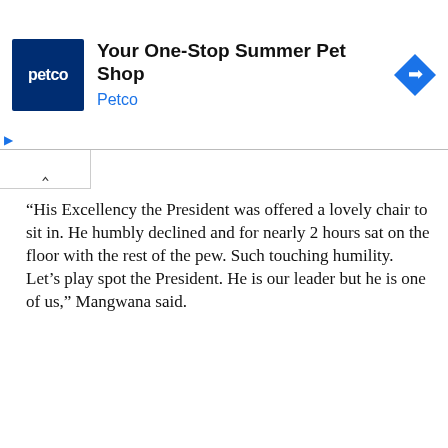[Figure (other): Petco advertisement banner with logo, headline 'Your One-Stop Summer Pet Shop', 'Petco' subtitle in blue, and a blue diamond navigation icon on the right. Ad controls (play and close X) on the left side.]
“His Excellency the President was offered a lovely chair to sit in. He humbly declined and for nearly 2 hours sat on the floor with the rest of the pew. Such touching humility. Let’s play spot the President. He is our leader but he is one of us,” Mangwana said.
However, what the President could not compromise on, as is
We use cookies on our website to give you the most relevant experience by remembering your preferences and repeat visits. By clicking “Accept”, you consent to the use of ALL the cookies.
Do not sell my personal information.